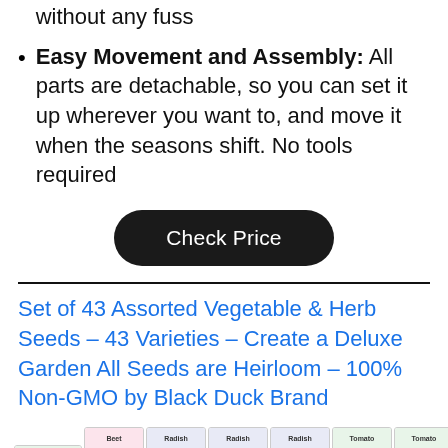without any fuss
Easy Movement and Assembly: All parts are detachable, so you can set it up wherever you want to, and move it when the seasons shift. No tools required
Check Price
Set of 43 Assorted Vegetable & Herb Seeds – 43 Varieties – Create a Deluxe Garden All Seeds are Heirloom – 100% Non-GMO by Black Duck Brand
[Figure (photo): Row of seed packet product images showing various vegetable seeds (tomato, radish, beet varieties) with colorful photography on the packets]